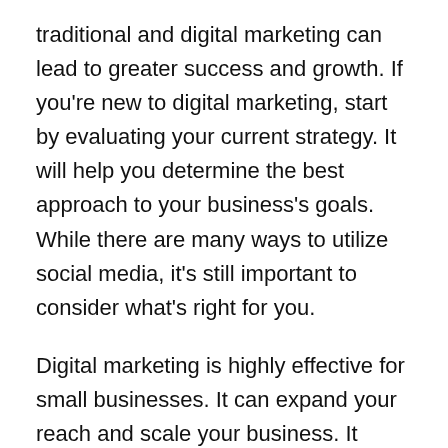traditional and digital marketing can lead to greater success and growth. If you're new to digital marketing, start by evaluating your current strategy. It will help you determine the best approach to your business's goals. While there are many ways to utilize social media, it's still important to consider what's right for you.
Digital marketing is highly effective for small businesses. It can expand your reach and scale your business. It allows customers to buy your products and services anytime and anywhere. It also helps you connect with potential customers via e-commerce or through social media. You'll never run out of customers if your business has an online presence. The most successful companies combine traditional marketing strategies with digital